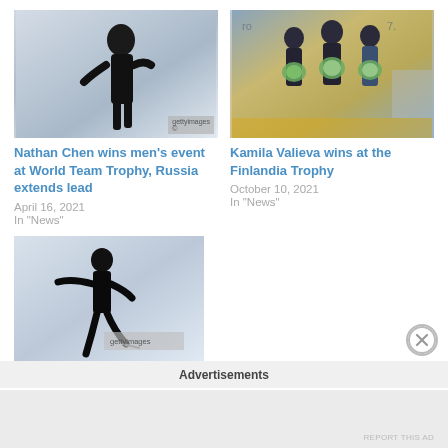[Figure (photo): Figure skater in black outfit on ice, close-up torso shot, black and white style]
[Figure (photo): Three female figure skaters on podium holding bouquets and medals, Finlandia Trophy]
Nathan Chen wins men's event at World Team Trophy, Russia extends lead
April 16, 2021
In "News"
Kamila Valieva wins at the Finlandia Trophy
October 10, 2021
In "News"
[Figure (photo): Nathan Chen figure skater in black outfit performing on ice, full body shot]
Nathan Chen leads after short program at U.S.
Advertisements